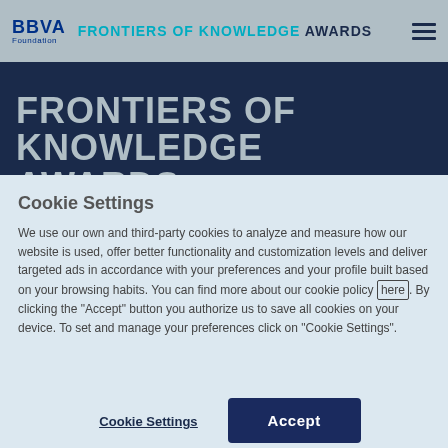BBVA Foundation — FRONTIERS OF KNOWLEDGE AWARDS
FRONTIERS OF KNOWLEDGE AWARDS
Cookie Settings
We use our own and third-party cookies to analyze and measure how our website is used, offer better functionality and customization levels and deliver targeted ads in accordance with your preferences and your profile built based on your browsing habits. You can find more about our cookie policy here. By clicking the "Accept" button you authorize us to save all cookies on your device. To set and manage your preferences click on "Cookie Settings".
Cookie Settings | Accept